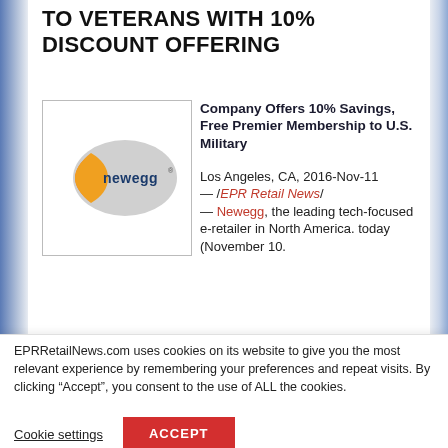TO VETERANS WITH 10% DISCOUNT OFFERING
[Figure (logo): Newegg logo — orange crescent shape with grey oval and 'newegg' text in blue]
Company Offers 10% Savings, Free Premier Membership to U.S. Military
Los Angeles, CA, 2016-Nov-11 — /EPR Retail News/ — Newegg, the leading tech-focused e-retailer in North America. today (November 10.
EPRRetailNews.com uses cookies on its website to give you the most relevant experience by remembering your preferences and repeat visits. By clicking “Accept”, you consent to the use of ALL the cookies.
Cookie settings
ACCEPT